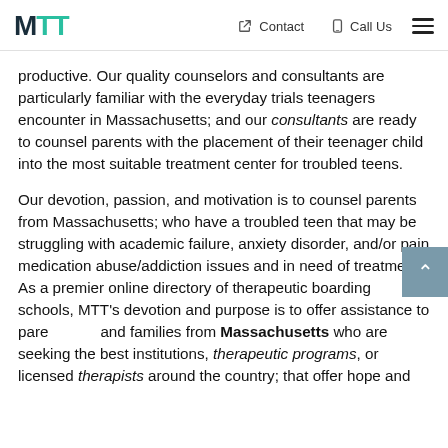MTT  Contact  Call Us
productive. Our quality counselors and consultants are particularly familiar with the everyday trials teenagers encounter in Massachusetts; and our consultants are ready to counsel parents with the placement of their teenager child into the most suitable treatment center for troubled teens.
Our devotion, passion, and motivation is to counsel parents from Massachusetts; who have a troubled teen that may be struggling with academic failure, anxiety disorder, and/or pain medication abuse/addiction issues and in need of treatment. As a premier online directory of therapeutic boarding schools, MTT's devotion and purpose is to offer assistance to parents and families from Massachusetts who are seeking the best institutions, therapeutic programs, or licensed therapists around the country; that offer hope and